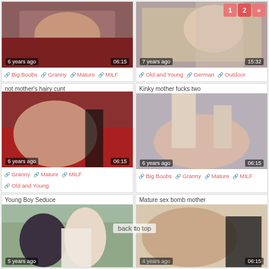[Figure (photo): Video thumbnail top-left, 6 years ago, 06:15]
Big Boobs | Granny | Mature | MILF
[Figure (photo): Video thumbnail top-right, 7 years ago, 15:32]
Old and Young | German | Outdoor
not mother's hairy cunt
[Figure (photo): Video thumbnail mid-left, 6 years ago, 06:15]
Granny | Mature | MILF | Old and Young
Kinky mother fucks two
[Figure (photo): Video thumbnail mid-right, 6 years ago, 06:15]
Big Boobs | Granny | Mature | MILF
Young Boy Seduce
[Figure (photo): Video thumbnail bot-left, 5 years ago]
Mature sex bomb mother
[Figure (photo): Video thumbnail bot-right, 06:15]